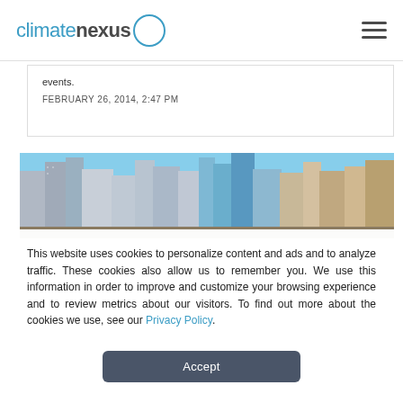climatenexus
events.
FEBRUARY 26, 2014, 2:47 PM
[Figure (photo): City skyline photograph showing multiple tall skyscrapers against a blue sky]
This website uses cookies to personalize content and ads and to analyze traffic. These cookies also allow us to remember you. We use this information in order to improve and customize your browsing experience and to review metrics about our visitors. To find out more about the cookies we use, see our Privacy Policy.
Accept